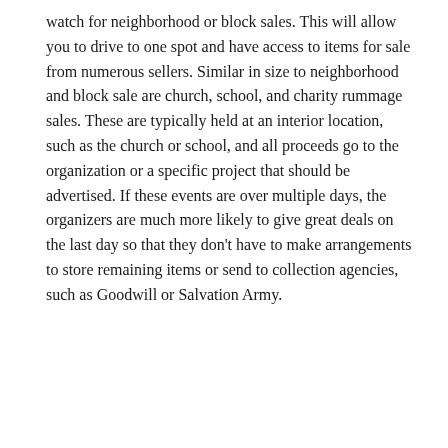watch for neighborhood or block sales. This will allow you to drive to one spot and have access to items for sale from numerous sellers. Similar in size to neighborhood and block sale are church, school, and charity rummage sales. These are typically held at an interior location, such as the church or school, and all proceeds go to the organization or a specific project that should be advertised. If these events are over multiple days, the organizers are much more likely to give great deals on the last day so that they don't have to make arrangements to store remaining items or send to collection agencies, such as Goodwill or Salvation Army.